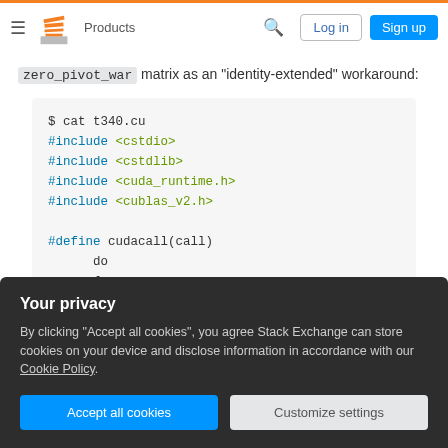Stack Overflow — hamburger menu, logo, Products, search, Log in, Sign up
zero_pivot_war matrix as an "identity-extended" workaround:
[Figure (screenshot): Code block showing C++ CUDA source file t340.cu with #include directives for cstdio, cstdlib, cuda_runtime.h, cublas_v2.h, and a #define cudacall(call) macro with do { cudaError_t err = (call);]
Your privacy
By clicking "Accept all cookies", you agree Stack Exchange can store cookies on your device and disclose information in accordance with our Cookie Policy.
Accept all cookies   Customize settings